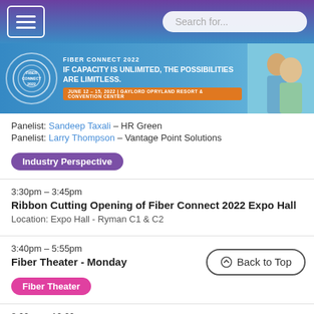Fiber Connect 2022 - IF CAPACITY IS UNLIMITED, THE POSSIBILITIES ARE LIMITLESS.
Panelist: Sandeep Taxali – HR Green
Panelist: Larry Thompson – Vantage Point Solutions
Industry Perspective
3:30pm – 3:45pm
Ribbon Cutting Opening of Fiber Connect 2022 Expo Hall
Location: Expo Hall - Ryman C1 & C2
3:40pm – 5:55pm
Fiber Theater - Monday
Fiber Theater
8:00pm – 10:00pm
Nashville Stories Songwriter Rounds